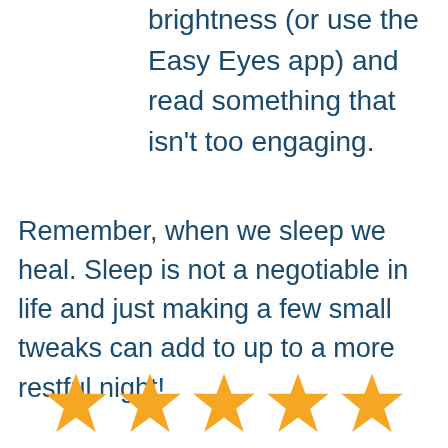brightness (or use the Easy Eyes app) and read something that isn't too engaging.
Remember, when we sleep we heal. Sleep is not a negotiable in life and just making a few small tweaks can add to up to a more restful night!
[Figure (illustration): Five gold/yellow star rating icons in a row]